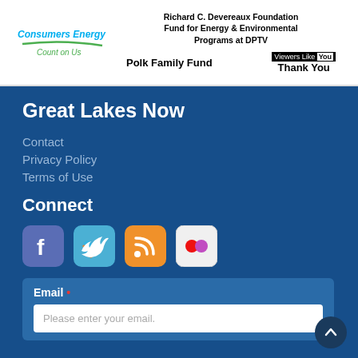[Figure (logo): Consumers Energy logo with 'Count on Us' tagline]
Richard C. Devereaux Foundation Fund for Energy & Environmental Programs at DPTV
Polk Family Fund
Viewers Like You Thank You
Great Lakes Now
Contact
Privacy Policy
Terms of Use
Connect
[Figure (illustration): Social media icons: Facebook, Twitter, RSS, Flickr]
Email * Please enter your email.